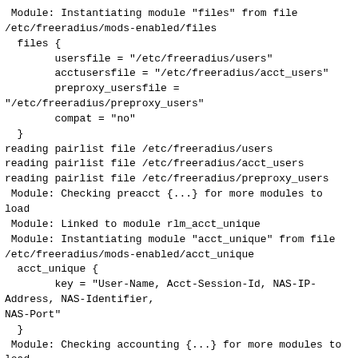Module: Instantiating module "files" from file
/etc/freeradius/mods-enabled/files
  files {
        usersfile = "/etc/freeradius/users"
        acctusersfile = "/etc/freeradius/acct_users"
        preproxy_usersfile =
"/etc/freeradius/preproxy_users"
        compat = "no"
  }
reading pairlist file /etc/freeradius/users
reading pairlist file /etc/freeradius/acct_users
reading pairlist file /etc/freeradius/preproxy_users
 Module: Checking preacct {...} for more modules to
load
 Module: Linked to module rlm_acct_unique
 Module: Instantiating module "acct_unique" from file
/etc/freeradius/mods-enabled/acct_unique
  acct_unique {
        key = "User-Name, Acct-Session-Id, NAS-IP-
Address, NAS-Identifier,
NAS-Port"
  }
 Module: Checking accounting {...} for more modules to
load
 Module: Linked to module rlm_detail
 Module: Instantiating module "detail" from file
/etc/freeradius/mods-enabled/detail
  detail {
        detailfile =
"/var/log/freeradius/radacct/%{%{Packet-Src-IP-